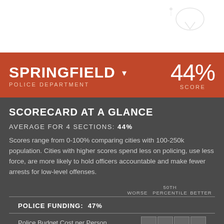[Figure (illustration): Partial view of a map or location icon at top right corner, faded]
SPRINGFIELD POLICE DEPARTMENT
44% SCORE
SCORECARD AT A GLANCE
AVERAGE FOR 4 SECTIONS: 44%
Scores range from 0-100% comparing cities with 100-250k population. Cities with higher scores spend less on policing, use less force, are more likely to hold officers accountable and make fewer arrests for low-level offenses.
|  | WORSE | 50TH PERCENTILE | BETTER |
| --- | --- | --- | --- |
| POLICE FUNDING: 47% |  |  |  |
| Police Budget Cost per Person |  |  |  |